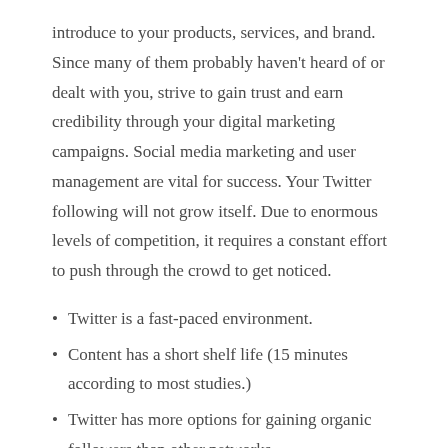introduce to your products, services, and brand. Since many of them probably haven't heard of or dealt with you, strive to gain trust and earn credibility through your digital marketing campaigns. Social media marketing and user management are vital for success. Your Twitter following will not grow itself. Due to enormous levels of competition, it requires a constant effort to push through the crowd to get noticed.
Twitter is a fast-paced environment.
Content has a short shelf life (15 minutes according to most studies.)
Twitter has more options for gaining organic followers than other networks.